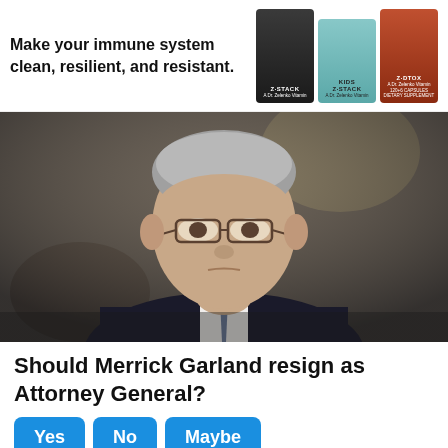[Figure (photo): Advertisement banner with text 'Make your immune system clean, resilient, and resistant.' and three supplement bottles: Z-Stack (dark bottle), Kids Z-Stack (teal bottle), and Z-DTOX (red/brown bottle), branded Dr. Zelenko Vitamins]
[Figure (photo): Close-up photograph of Merrick Garland, an older man with silver-gray hair wearing glasses and a dark suit with tie, looking upward with a serious expression, against a blurred background]
Should Merrick Garland resign as Attorney General?
Yes  No  Maybe
13,797 Votes
[Figure (photo): Partial photo of another person, cropped at bottom edge of page, showing top of head with gray/white hair]